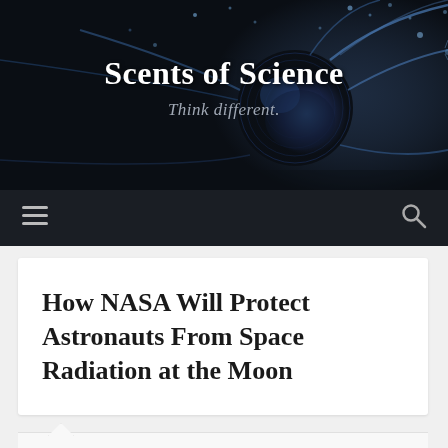[Figure (illustration): Website header banner with dark background showing a blue neuron/cell illustration with glowing highlights and small circular particles scattered around]
Scents of Science
Think different.
Navigation bar with hamburger menu icon and search icon
How NASA Will Protect Astronauts From Space Radiation at the Moon